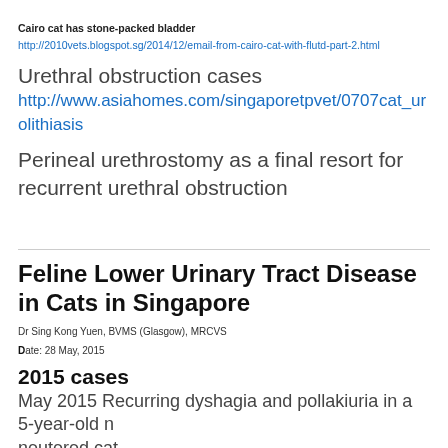Cairo cat has stone-packed bladder
http://2010vets.blogspot.sg/2014/12/email-from-cairo-cat-with-flutd-part-2.html
Urethral obstruction cases
http://www.asiahomes.com/singaporetpvet/0707cat_urolithiasis
Perineal urethrostomy as a final resort for recurrent urethral obstruction
Feline Lower Urinary Tract Disease in Cats in Singapore
Dr Sing Kong Yuen, BVMS (Glasgow), MRCVS
Date:  28 May, 2015
2015 cases
May 2015  Recurring dyshagia and pollakiuria in a 5-year-old neutered cat
http://2010vets.blogspot.sg/2015/05/video-production-for-flutd-cats-in.html